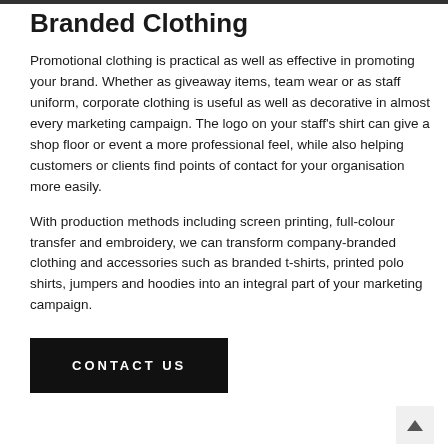Branded Clothing
Promotional clothing is practical as well as effective in promoting your brand. Whether as giveaway items, team wear or as staff uniform, corporate clothing is useful as well as decorative in almost every marketing campaign. The logo on your staff's shirt can give a shop floor or event a more professional feel, while also helping customers or clients find points of contact for your organisation more easily.
With production methods including screen printing, full-colour transfer and embroidery, we can transform company-branded clothing and accessories such as branded t-shirts, printed polo shirts, jumpers and hoodies into an integral part of your marketing campaign.
Contact Us